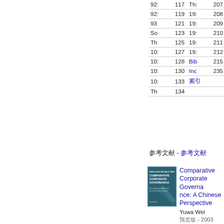| Entry | Page | Entry | Page |
| --- | --- | --- | --- |
| 92: | 117 | Th: | 207 |
| 92: | 119 | 19: | 208 |
| 93 | 121 | 19: | 209 |
| So | 123 | 19: | 210 |
| Th | 125 | 19: | 211 |
| 10: | 127 | 19: | 212 |
| 10: | 128 | Bib | 215 |
| 10: | 130 | Inc | 235 |
| 10: | 133 | 索引 |  |
| Th | 134 |  |  |
参考文献 - 参考文献
[Figure (illustration): Book cover of Comparative Corporate Governance: A Chinese Perspective by Yuwa Wei, 2003. Dark teal/blue cover with title text.]
Comparative Corporate Governance: A Chinese Perspective Yuwa Wei 预览版 - 2003